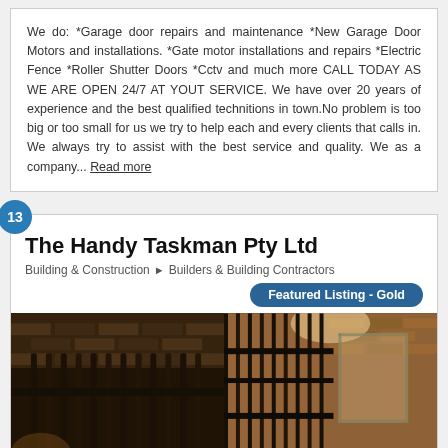We do: *Garage door repairs and maintenance *New Garage Door Motors and installations. *Gate motor installations and repairs *Electric Fence *Roller Shutter Doors *Cctv and much more CALL TODAY AS WE ARE OPEN 24/7 AT YOUT SERVICE. We have over 20 years of experience and the best qualified technitions in town.No problem is too big or too small for us we try to help each and every clients that calls in. We always try to assist with the best service and quality. We as a company... Read more
The Handy Taskman Pty Ltd
Building & Construction > Builders & Building Contractors
Featured Listing - Gold
[Figure (photo): Two side-by-side photos showing metal security gates/fencing installed at properties with brick walls visible in the background.]
32 pigeon str, Horison park, Horizen View, Gauteng